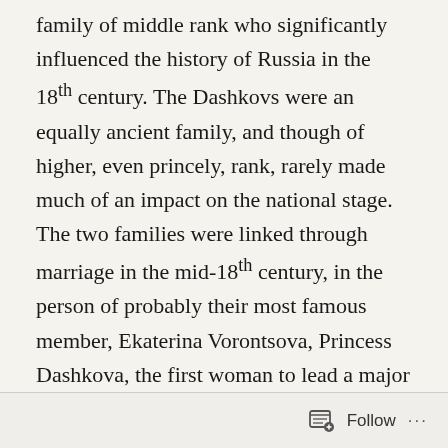family of middle rank who significantly influenced the history of Russia in the 18th century. The Dashkovs were an equally ancient family, and though of higher, even princely, rank, rarely made much of an impact on the national stage. The two families were linked through marriage in the mid-18th century, in the person of probably their most famous member, Ekaterina Vorontsova, Princess Dashkova, the first woman to lead a major academic institution. In the wake of this union, the Dashkov family name and arms were willed to the Vorontsov family, allowing them to become princes themselves in the 19th century. This blog post will therefore look at these families together.
Follow ···